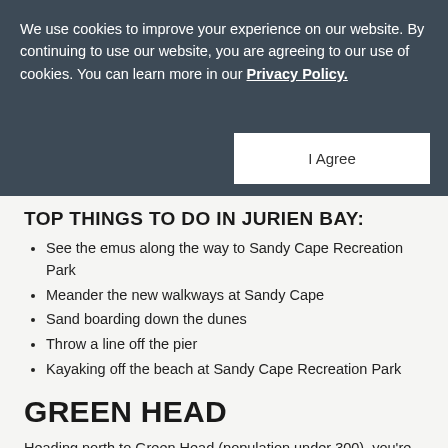We use cookies to improve your experience on our website. By continuing to use our website, you are agreeing to our use of cookies. You can learn more in our Privacy Policy.
I Agree
TOP THINGS TO DO IN JURIEN BAY:
See the emus along the way to Sandy Cape Recreation Park
Meander the new walkways at Sandy Cape
Sand boarding down the dunes
Throw a line off the pier
Kayaking off the beach at Sandy Cape Recreation Park
GREEN HEAD
Heading north to Green Head (population under 300), you're in the heart of the region's green belt in more ways than one. It's here that the Green Head Coast Care